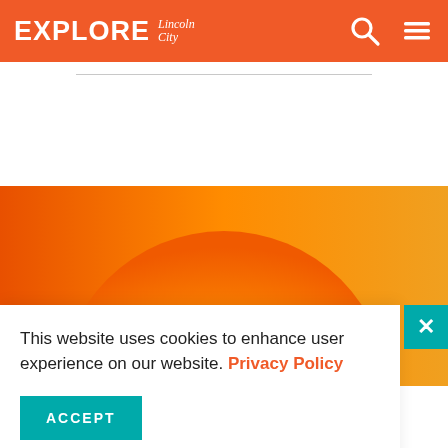EXPLORE Lincoln City
[Figure (illustration): Bright orange and yellow sun with white glow, partially visible as a large semicircle against an orange gradient background]
This website uses cookies to enhance user experience on our website. Privacy Policy
ACCEPT